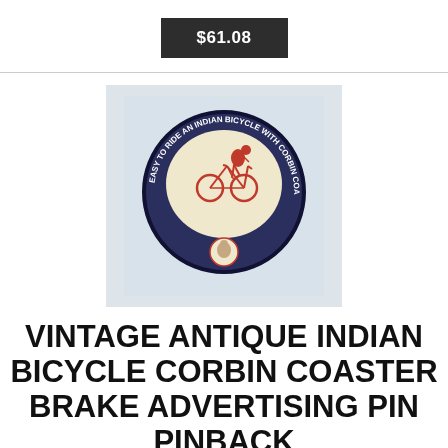$61.08
[Figure (photo): Vintage antique Indian Bicycle Corbin Coaster Brake advertising pin pinback button. Dark navy blue circular pin with red illustration of a cyclist riding a bicycle. Text along the border reads 'EASY TO RIDE AN INDIAN BICYCLE WITH CORBIN COASTER BRAKE'. Small portrait medallion at the bottom of the pin.]
VINTAGE ANTIQUE INDIAN BICYCLE CORBIN COASTER BRAKE ADVERTISING PIN PINBACK
For Sale Is A Neat Bastian Bros Celluloid Pinback For Indian Bicycles With Corbin